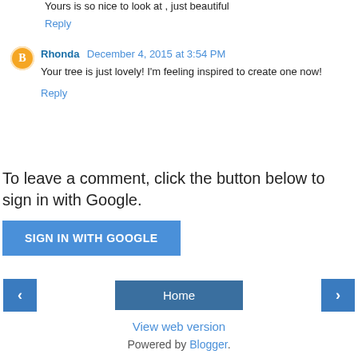Yours is so nice to look at , just beautiful
Reply
Rhonda  December 4, 2015 at 3:54 PM
Your tree is just lovely! I'm feeling inspired to create one now!
Reply
To leave a comment, click the button below to sign in with Google.
SIGN IN WITH GOOGLE
Home
View web version
Powered by Blogger.